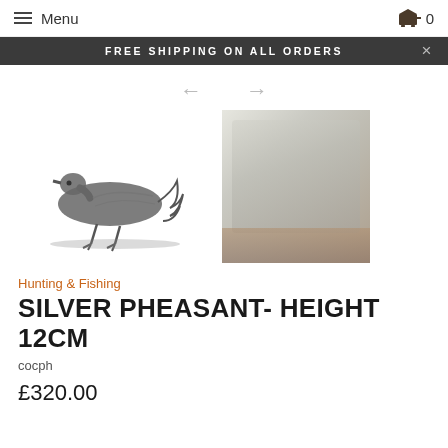Menu  0
FREE SHIPPING ON ALL ORDERS
[Figure (photo): Navigation arrows left and right in gray]
[Figure (photo): Silver pheasant figurine on white background (left) and silver pheasant figurine on wooden surface with greenery background (right)]
Hunting & Fishing
SILVER PHEASANT- HEIGHT 12CM
cocph
£320.00